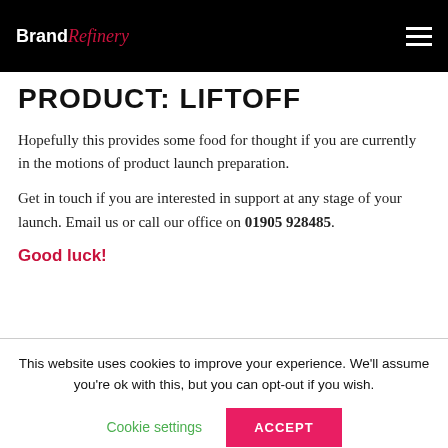Brand Refinery
PRODUCT: LIFTOFF
Hopefully this provides some food for thought if you are currently in the motions of product launch preparation.
Get in touch if you are interested in support at any stage of your launch. Email us or call our office on 01905 928485.
Good luck!
This website uses cookies to improve your experience. We'll assume you're ok with this, but you can opt-out if you wish.
Cookie settings
ACCEPT